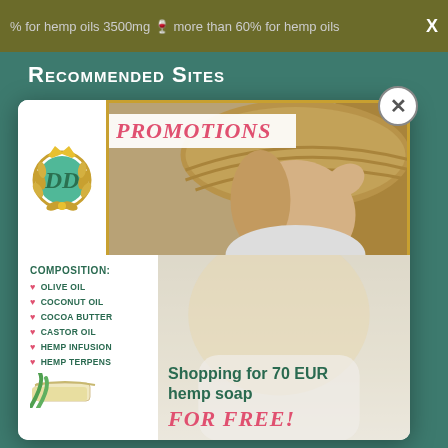% for hemp oils 3500mg  more than 60% for hemp oils  X
Recommended Sites
[Figure (screenshot): Promotional popup/modal for a hemp soap product. Shows a brand logo (DD monogram with gold wreath), a 'PROMOTIONS' banner in pink italic text, a photo of a smiling woman in a straw hat, a composition list (Olive Oil, Coconut Oil, Cocoa Butter, Castor Oil, Hemp Infusion, Hemp Terpens), and a green/pink promotional text 'Shopping for 70 EUR hemp soap FOR FREE!']